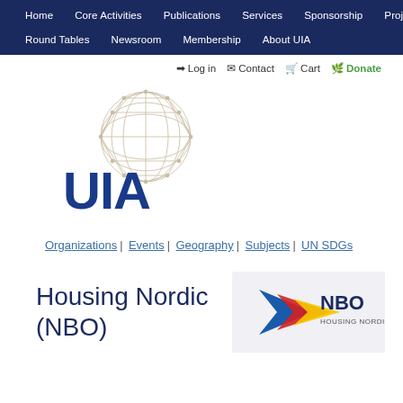Home | Core Activities | Publications | Services | Sponsorship | Projects | Round Tables | Newsroom | Membership | About UIA
🔑 Log in  ✉ Contact  🛒 Cart  🌿 Donate
[Figure (logo): UIA globe wireframe logo with 'UIA' text in dark blue]
Organizations | Events | Geography | Subjects | UN SDGs
Housing Nordic (NBO)
[Figure (logo): NBO Housing Nordic logo with diagonal colored arrows (blue, red, yellow) and 'NBO HOUSING NORDIC' text]